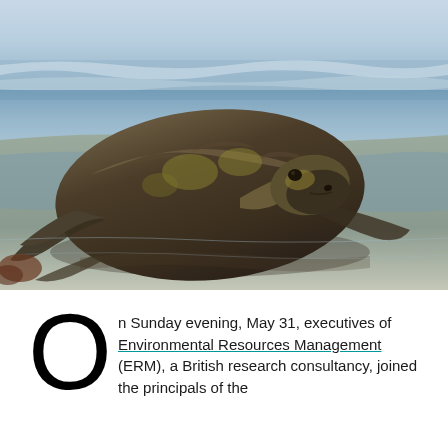[Figure (photo): A large sea turtle (olive ridley or similar species) resting on a wet sandy beach at the water's edge, with gentle ocean waves visible in the background. The turtle is viewed from a slightly elevated angle, showing its large dark brown/olive shell and head.]
On Sunday evening, May 31, executives of Environmental Resources Management (ERM), a British research consultancy, joined the principals of the